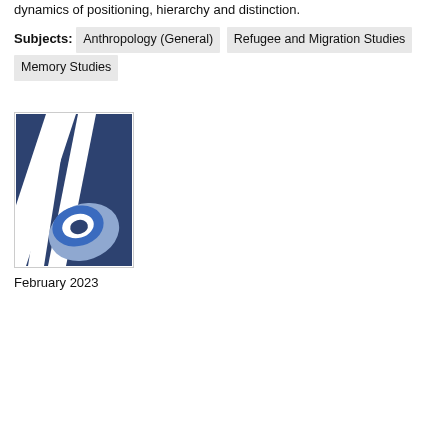dynamics of positioning, hierarchy and distinction.
Subjects: Anthropology (General)  Refugee and Migration Studies  Memory Studies
[Figure (logo): Publisher logo: a stylized letter 'b' formed by diagonal white stripe over dark navy blue background, with a blue ellipse and light blue arc at the bottom, suggesting the Berghahn Books publisher logo.]
February 2023